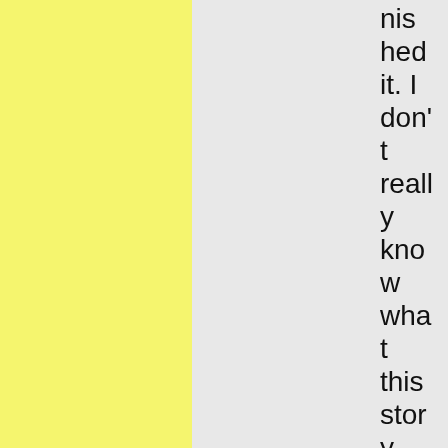hed it. I don't really know what this story was. It's full of weird word choi